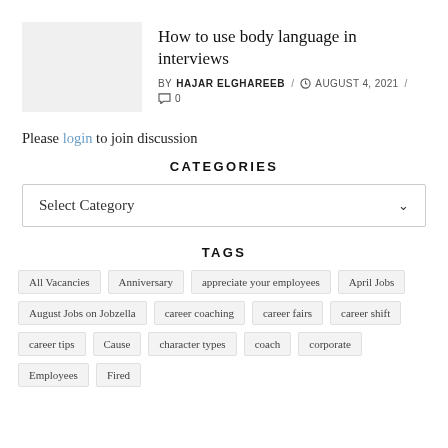[Figure (photo): Thumbnail image placeholder for the article]
How to use body language in interviews
BY HAJAR ELGHAREEB / ⌚ AUGUST 4, 2021 / 💬 0
Please login to join discussion
CATEGORIES
Select Category
TAGS
All Vacancies
Anniversary
appreciate your employees
April Jobs
August Jobs on Jobzella
career coaching
career fairs
career shift
career tips
Cause
character types
coach
corporate
Employees
Fired